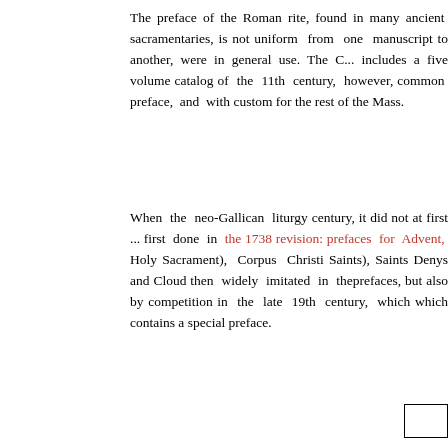The preface of the Roman rite, found in many ancient sacramentaries, is not uniform from one manuscript to another, were in general use. The O... includes a five volume cata... of the 11th century, howe... common preface, and wit... custom for the rest of the M...
When the neo-Gallican litu... century, it did not at first ... first done in the 1738 rev... prefaces for Advent, Hol... Sacrament), Corpus Christ... Saints), Saints Denys and C... then widely imitated in the... prefaces, but also by compe... in the late 19th century, w... which contains a special pre...